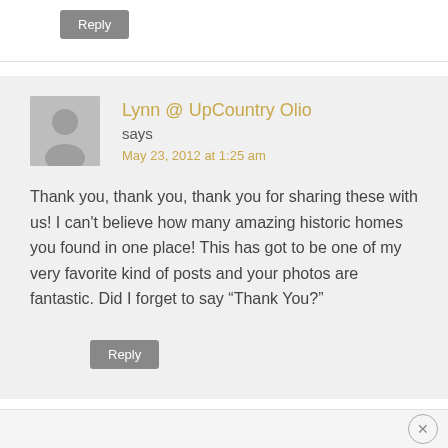Reply
Lynn @ UpCountry Olio says May 23, 2012 at 1:25 am
Thank you, thank you, thank you for sharing these with us! I can't believe how many amazing historic homes you found in one place! This has got to be one of my very favorite kind of posts and your photos are fantastic. Did I forget to say “Thank You?”
Reply